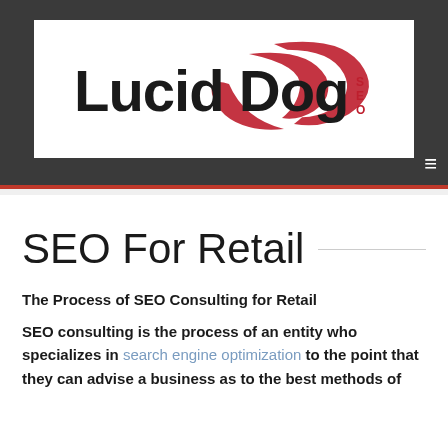[Figure (logo): Lucid Dog SEO logo — stylized text 'Lucid Dog' in bold black with red swoosh graphic and 'SEO' stacked in red to the right]
SEO For Retail
The Process of SEO Consulting for Retail
SEO consulting is the process of an entity who specializes in search engine optimization to the point that they can advise a business as to the best methods of [continuing below]